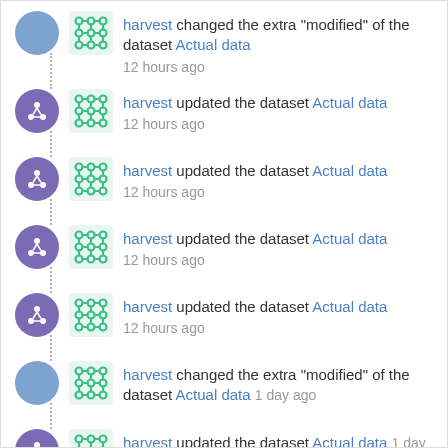harvest changed the extra "modified" of the dataset Actual data 12 hours ago
harvest updated the dataset Actual data 12 hours ago
harvest updated the dataset Actual data 12 hours ago
harvest updated the dataset Actual data 12 hours ago
harvest updated the dataset Actual data 12 hours ago
harvest changed the extra "modified" of the dataset Actual data 1 day ago
harvest updated the dataset Actual data 1 day ago
harvest updated the dataset Actual data 1 day ago